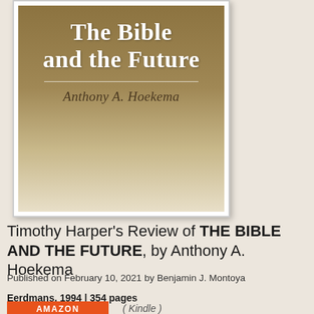[Figure (illustration): Book cover of 'The Bible and the Future' by Anthony A. Hoekema. Brown/tan gradient background with white bold serif title text 'The Bible and the Future', a horizontal rule, and author name 'Anthony A. Hoekema' in dark italic serif text. Cover is shown with a white border and drop shadow.]
Timothy Harper's Review of THE BIBLE AND THE FUTURE, by Anthony A. Hoekema
Published on February 10, 2021 by Benjamin J. Montoya
Eerdmans, 1994 | 354 pages
[Figure (screenshot): Orange Amazon button with white text 'AMAZON']
( Kindle )